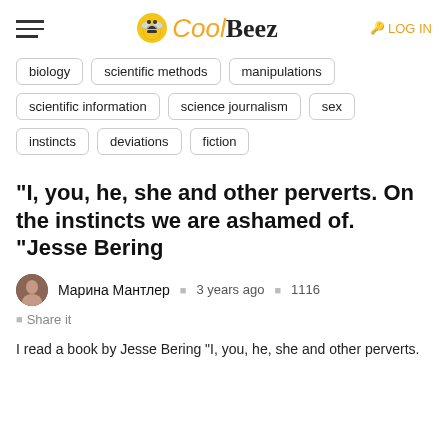CoolBeez — LOG IN
biology
scientific methods
manipulations
scientific information
science journalism
sex
instincts
deviations
fiction
“I, you, he, she and other perverts. On the instincts we are ashamed of. “Jesse Bering
Марина Мантлер   3 years ago   1116
Share it
I read a book by Jesse Bering “I, you, he, she and other perverts.